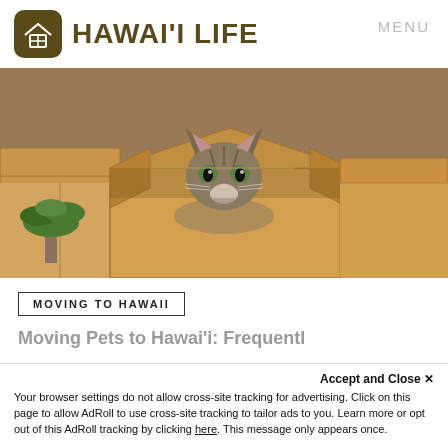HAWAI'I LIFE   MENU
[Figure (photo): A tabby cat peering out from inside an open cardboard moving box, surrounded by other cardboard boxes and a green plant, warm brown tones.]
MOVING TO HAWAII
Moving Pets to Hawai'i: Frequentl...
Accept and Close ✕
Your browser settings do not allow cross-site tracking for advertising. Click on this page to allow AdRoll to use cross-site tracking to tailor ads to you. Learn more or opt out of this AdRoll tracking by clicking here. This message only appears once.